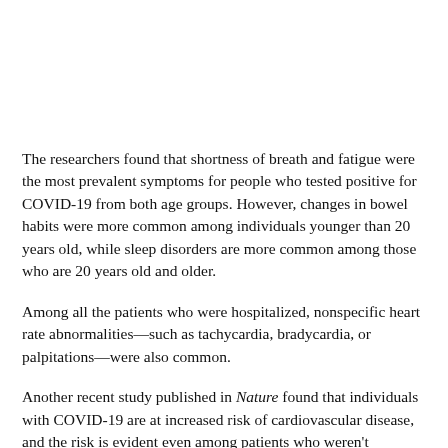The researchers found that shortness of breath and fatigue were the most prevalent symptoms for people who tested positive for COVID-19 from both age groups. However, changes in bowel habits were more common among individuals younger than 20 years old, while sleep disorders are more common among those who are 20 years old and older.
Among all the patients who were hospitalized, nonspecific heart rate abnormalities—such as tachycardia, bradycardia, or palpitations—were also common.
Another recent study published in Nature found that individuals with COVID-19 are at increased risk of cardiovascular disease, and the risk is evident even among patients who weren't hospitalized.
The study also observed the most prevalent conditions that occurred 31 to 150 days following the COVID-19 test. For patients 20 years old and older who were hospitalized after testing positive,